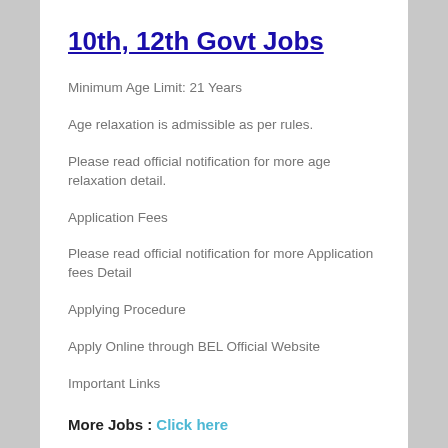10th, 12th Govt Jobs
Minimum Age Limit: 21 Years
Age relaxation is admissible as per rules.
Please read official notification for more age relaxation detail.
Application Fees
Please read official notification for more Application fees Detail
Applying Procedure
Apply Online through BEL Official Website
Important Links
More Jobs : Click here